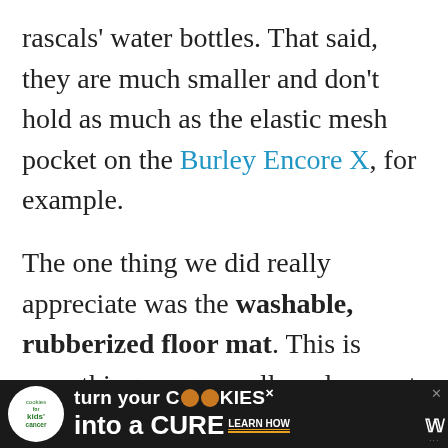rascals' water bottles. That said, they are much smaller and don't hold as much as the elastic mesh pocket on the Burley Encore X, for example.

The one thing we did really appreciate was the washable, rubberized floor mat. This is something we generally only see at higher price points (and sometimes not even then). The floor mat adds extra reinforcement as kids climb in and out, and means that
[Figure (other): Advertisement banner for 'Cookies for Kids' Cancer' charity with dark background, cookie logo, and text 'turn your COOKIES into a CURE LEARN HOW' with a close button and Wunderman Thompson logo on the right.]